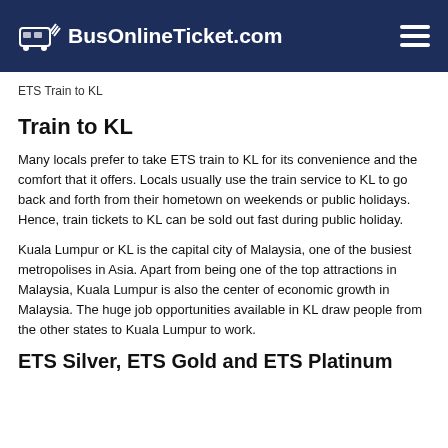BusOnlineTicket.com
ETS Train to KL
Train to KL
Many locals prefer to take ETS train to KL for its convenience and the comfort that it offers. Locals usually use the train service to KL to go back and forth from their hometown on weekends or public holidays. Hence, train tickets to KL can be sold out fast during public holiday.
Kuala Lumpur or KL is the capital city of Malaysia, one of the busiest metropolises in Asia. Apart from being one of the top attractions in Malaysia, Kuala Lumpur is also the center of economic growth in Malaysia. The huge job opportunities available in KL draw people from the other states to Kuala Lumpur to work.
ETS Silver, ETS Gold and ETS Platinum